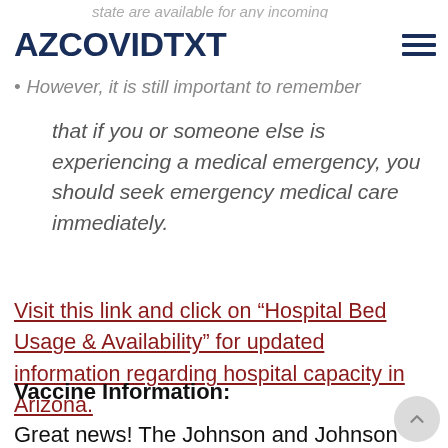state are available for any incoming
AZCOVIDTXT
However, it is still important to remember that if you or someone else is experiencing a medical emergency, you should seek emergency medical care immediately.
Visit this link and click on “Hospital Bed Usage & Availability” for updated information regarding hospital capacity in Arizona.
Vaccine Information:
Great news! The Johnson and Johnson